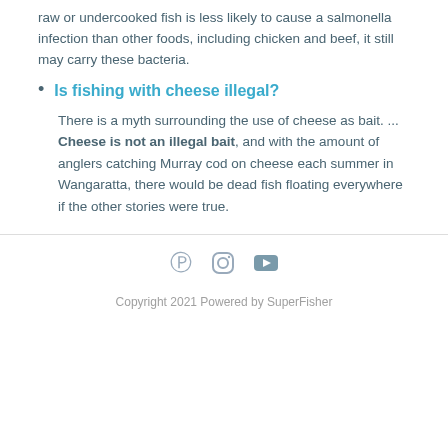raw or undercooked fish is less likely to cause a salmonella infection than other foods, including chicken and beef, it still may carry these bacteria.
Is fishing with cheese illegal?
There is a myth surrounding the use of cheese as bait. ... Cheese is not an illegal bait, and with the amount of anglers catching Murray cod on cheese each summer in Wangaratta, there would be dead fish floating everywhere if the other stories were true.
Copyright 2021 Powered by SuperFisher